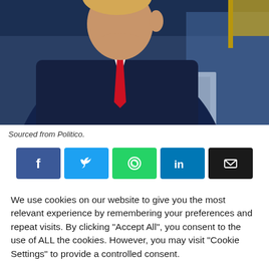[Figure (photo): A man in a dark navy suit with a red tie, viewed from a slight angle, at what appears to be a press briefing room with blue background lighting and an American flag visible in the upper right.]
Sourced from Politico.
[Figure (infographic): Social media share buttons: Facebook (blue), Twitter (light blue), WhatsApp (green), LinkedIn (dark blue), Email (black)]
We use cookies on our website to give you the most relevant experience by remembering your preferences and repeat visits. By clicking "Accept All", you consent to the use of ALL the cookies. However, you may visit "Cookie Settings" to provide a controlled consent.
Cookie Settings | Accept All